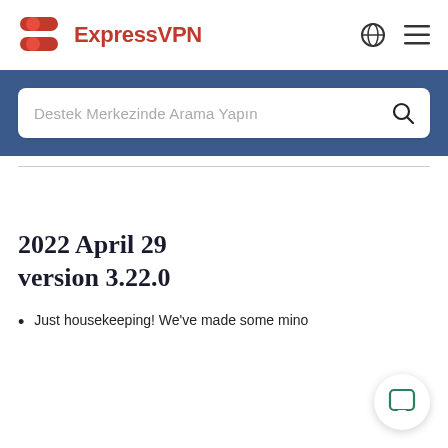ExpressVPN
Destek Merkezinde Arama Yapın
2022 April 29 version 3.22.0
Just housekeeping! We've made some mino...